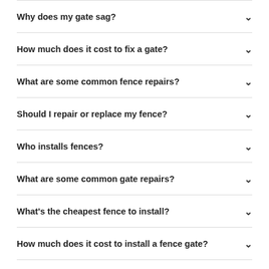Why does my gate sag?
How much does it cost to fix a gate?
What are some common fence repairs?
Should I repair or replace my fence?
Who installs fences?
What are some common gate repairs?
What's the cheapest fence to install?
How much does it cost to install a fence gate?